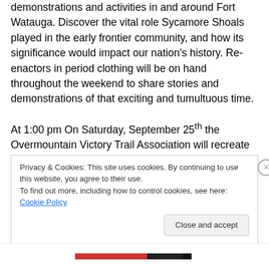demonstrations and activities in and around Fort Watauga. Discover the vital role Sycamore Shoals played in the early frontier community, and how its significance would impact our nation's history. Re-enactors in period clothing will be on hand throughout the weekend to share stories and demonstrations of that exciting and tumultuous time.
At 1:00 pm On Saturday, September 25th the Overmountain Victory Trail Association will recreate the historic 1780 river crossing when Colonel William Campbell and 400 mounted militiamen from present day Abingdon, VA crossed the Watauga River at Sycamore
Privacy & Cookies: This site uses cookies. By continuing to use this website, you agree to their use.
To find out more, including how to control cookies, see here: Cookie Policy